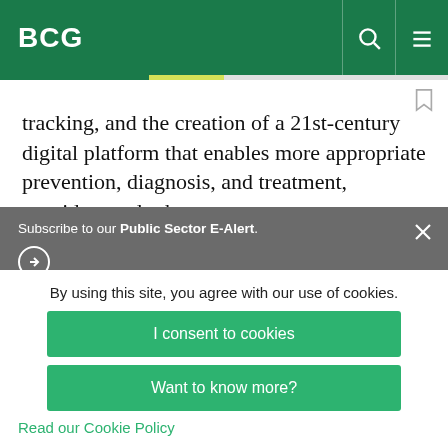BCG
tracking, and the creation of a 21st-century digital platform that enables more appropriate prevention, diagnosis, and treatment, providers and other
Subscribe to our Public Sector E-Alert.
protected by reCaptcha
By using this site, you agree with our use of cookies.
I consent to cookies
Want to know more?
Read our Cookie Policy